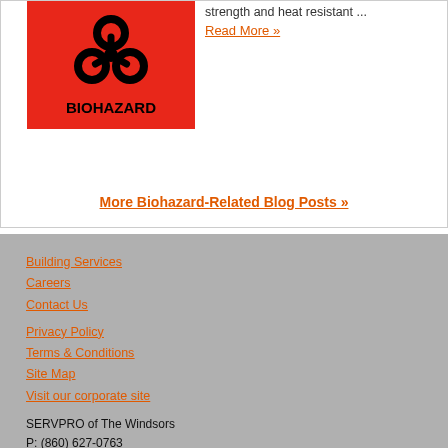[Figure (illustration): Red biohazard warning sign with black biohazard symbol and text BIOHAZARD]
strength and heat resistant ...
Read More »
More Biohazard-Related Blog Posts »
Building Services
Careers
Contact Us
Privacy Policy
Terms & Conditions
Site Map
Visit our corporate site
SERVPRO of The Windsors
P: (860) 627-0763
22 Thompson Road, Area 8 & 9
East Windsor, CT 06088
[Figure (logo): Facebook icon]
[Figure (logo): Twitter icon]
[Figure (logo): LinkedIn icon]
[Figure (logo): Google My Business icon]
[Figure (logo): Instagram icon]
© Servpro Industries, LLC. – All services in the U.S. performed by independently owned and operated franchises of Servpro Industries, LLC.
© Servpro Industries (Canada) ULC – All services in Canada performed by independently owned and operated franchises of Servpro Industries (Canada) ULC